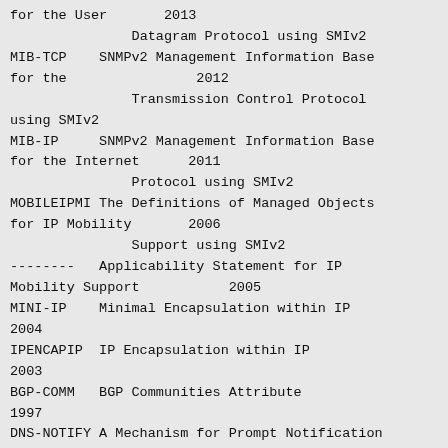| Label | Description | Year |
| --- | --- | --- |
| for the User |  | 2013 |
|  | Datagram Protocol using SMIv2 |  |
| MIB-TCP | SNMPv2 Management Information Base for the | 2012 |
|  | Transmission Control Protocol using SMIv2 |  |
| MIB-IP | SNMPv2 Management Information Base for the Internet | 2011 |
|  | Protocol using SMIv2 |  |
| MOBILEIPMI | The Definitions of Managed Objects for IP Mobility | 2006 |
|  | Support using SMIv2 |  |
| -------- | Applicability Statement for IP Mobility Support | 2005 |
| MINI-IP | Minimal Encapsulation within IP | 2004 |
| IPENCAPIP | IP Encapsulation within IP | 2003 |
| BGP-COMM | BGP Communities Attribute | 1997 |
| DNS-NOTIFY | A Mechanism for Prompt Notification of Zone Changes | 1996 |
|  | (DNS NOTIFY) |  |